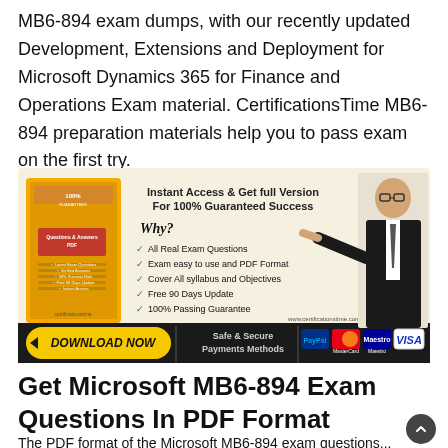MB6-894 exam dumps, with our recently updated Development, Extensions and Deployment for Microsoft Dynamics 365 for Finance and Operations Exam material. CertificationsTime MB6-894 preparation materials help you to pass exam on the first try.
[Figure (infographic): Advertisement banner for CertificationsTime MB6-894 exam dumps. Shows a yellow book/box on the left with 'Questions & Answers PDF' and bullet points. Center text: 'Instant Access & Get full Version For 100% Guaranteed Success', 'Why?', checkmarks listing: All Real Exam Questions, Exam easy to use and PDF Format, Cover All syllabus and Objectives, Free 90 Days Update, 100% Passing Guarantee. Right side shows a man in suit pointing. Bottom bar: 'DOWNLOAD NOW' button, 'Safe & Secure Payments Methods', PayPal, MasterCard, Maestro, VISA logos. URL: www.certificationstime.com]
Get Microsoft MB6-894 Exam Questions In PDF Format
The PDF format of the Microsoft MB6-894 exam questions...